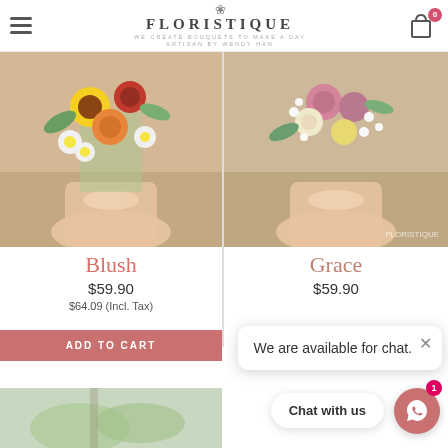FLORISTIQUE — WE CREATE BOUQUETS TO MAKE A DAY — ARTISAN BY WENDY HAN
[Figure (photo): Bouquet of colorful flowers including sunflowers, red roses, orange carnations, and white daisies wrapped in peach-toned fabric on a wooden surface. Floristique watermark visible.]
[Figure (photo): Bouquet of pink, white, and yellow roses with baby's breath wrapped in peach-toned fabric on a wooden surface. Floristique watermark visible.]
Blush
Grace
$59.90
$59.90
$64.09 (Incl. Tax)
ADD TO CART
We are available for chat.
Chat with us
[Figure (photo): Partial view of a flower arrangement at bottom left.]
[Figure (photo): Partial view of a flower arrangement at bottom right.]